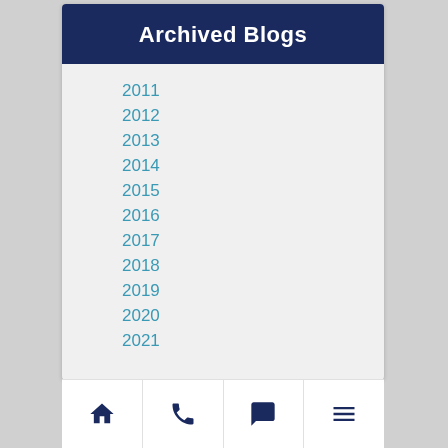Archived Blogs
2011
2012
2013
2014
2015
2016
2017
2018
2019
2020
2021